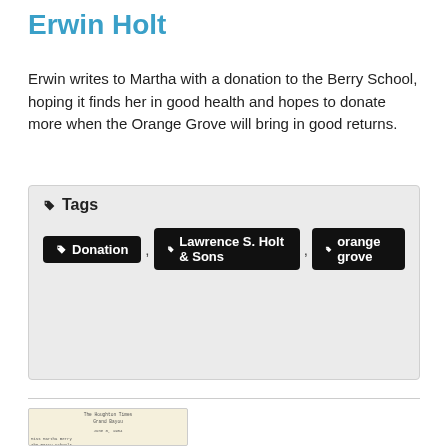Erwin Holt
Erwin writes to Martha with a donation to the Berry School, hoping it finds her in good health and hopes to donate more when the Orange Grove will bring in good returns.
Tags
Donation
Lawrence S. Holt & Sons
orange grove
[Figure (photo): Thumbnail image of a historical letter on aged paper, showing letterhead text and typed correspondence addressed to Miss Martha Berry, The Berry Schools, Mount Berry, Ga.]